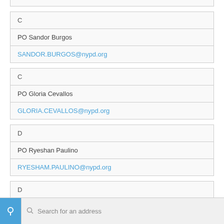| C |
| PO Sandor Burgos |
| SANDOR.BURGOS@nypd.org |
| C |
| PO Gloria Cevallos |
| GLORIA.CEVALLOS@nypd.org |
| D |
| PO Ryeshan Paulino |
| RYESHAM.PAULINO@nypd.org |
| D |
| PO Aine Reynolds |
| AINE.REYNOLDS@nypd.org |
[Figure (screenshot): Map search bar at the bottom with a blue icon and 'Search for an address' placeholder text]